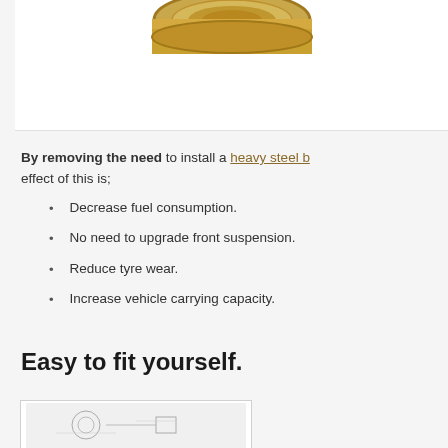[Figure (photo): Top portion of a golden/brass colored circular product (hub cap or similar), cropped at top of page within a white background box]
By removing the need to install a heavy steel b... effect of this is;
Decrease fuel consumption.
No need to upgrade front suspension.
Reduce tyre wear.
Increase vehicle carrying capacity.
Easy to fit yourself.
[Figure (photo): Partial view of an installation diagram or photo at the bottom of the page, cut off]